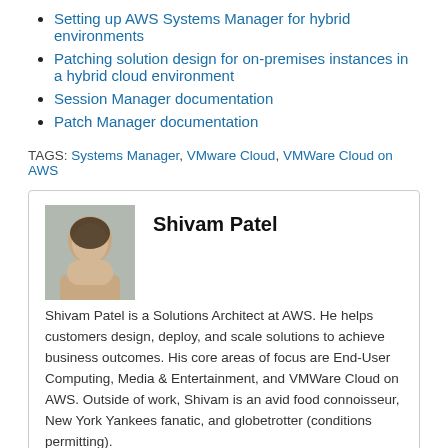Setting up AWS Systems Manager for hybrid environments
Patching solution design for on-premises instances in a hybrid cloud environment
Session Manager documentation
Patch Manager documentation
TAGS: Systems Manager, VMware Cloud, VMWare Cloud on AWS
Shivam Patel
Shivam Patel is a Solutions Architect at AWS. He helps customers design, deploy, and scale solutions to achieve business outcomes. His core areas of focus are End-User Computing, Media & Entertainment, and VMWare Cloud on AWS. Outside of work, Shivam is an avid food connoisseur, New York Yankees fanatic, and globetrotter (conditions permitting).
Hareesh Singireddy